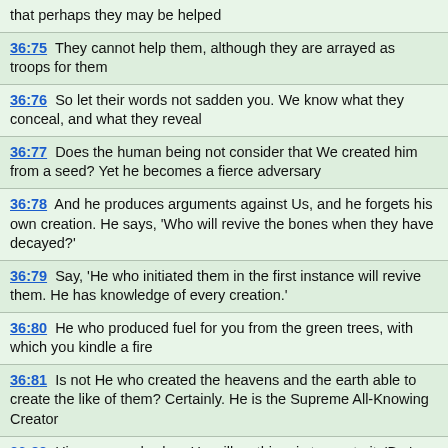that perhaps they may be helped
36:75  They cannot help them, although they are arrayed as troops for them
36:76  So let their words not sadden you. We know what they conceal, and what they reveal
36:77  Does the human being not consider that We created him from a seed? Yet he becomes a fierce adversary
36:78  And he produces arguments against Us, and he forgets his own creation. He says, 'Who will revive the bones when they have decayed?'
36:79  Say, 'He who initiated them in the first instance will revive them. He has knowledge of every creation.'
36:80  He who produced fuel for you from the green trees, with which you kindle a fire
36:81  Is not He who created the heavens and the earth able to create the like of them? Certainly. He is the Supreme All-Knowing Creator
36:82  His command, when He wills a thing, is to say to it, 'Be,' and it comes to be
36:83  So glory be to Him in whose hand is the dominion of